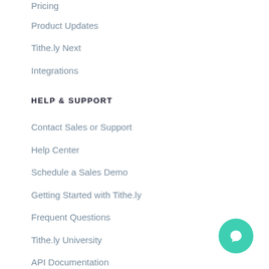Pricing
Product Updates
Tithe.ly Next
Integrations
HELP & SUPPORT
Contact Sales or Support
Help Center
Schedule a Sales Demo
Getting Started with Tithe.ly
Frequent Questions
Tithe.ly University
API Documentation
Platform Status
Give to Your Church or